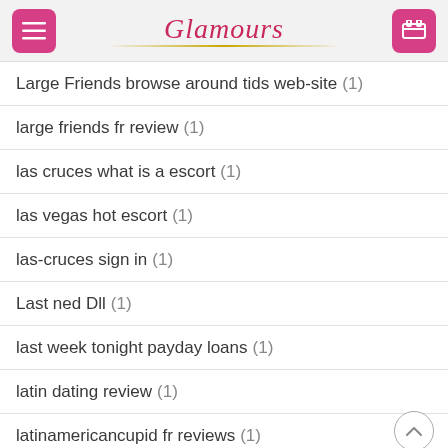Glamours
Large Friends browse around tids web-site (1)
large friends fr review (1)
las cruces what is a escort (1)
las vegas hot escort (1)
las-cruces sign in (1)
Last ned Dll (1)
last week tonight payday loans (1)
latin dating review (1)
latinamericancupid fr reviews (1)
LatinAmericanCupid tips (1)